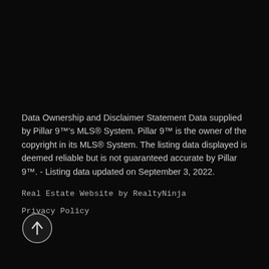Data Ownership and Disclaimer Statement Data supplied by Pillar 9™'s MLS® System. Pillar 9™ is the owner of the copyright in its MLS® System. The listing data displayed is deemed reliable but is not guaranteed accurate by Pillar 9™. - Listing data updated on September 3, 2022.
Real Estate Website by RealtyNinja
Privacy Policy
[Figure (illustration): Circular back-to-top arrow button icon with upward arrow, dark background with light border]